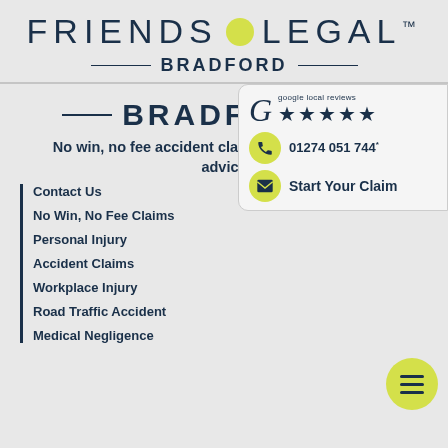FRIENDS LEGAL™ BRADFORD
BRADFORD
No win, no fee accident claims and compensation advice
[Figure (infographic): Google local reviews box with 5 stars, phone number 01274 051 744, and Start Your Claim button]
Contact Us
No Win, No Fee Claims
Personal Injury
Accident Claims
Workplace Injury
Road Traffic Accident
Medical Negligence
[Figure (infographic): Yellow circular menu/hamburger button]